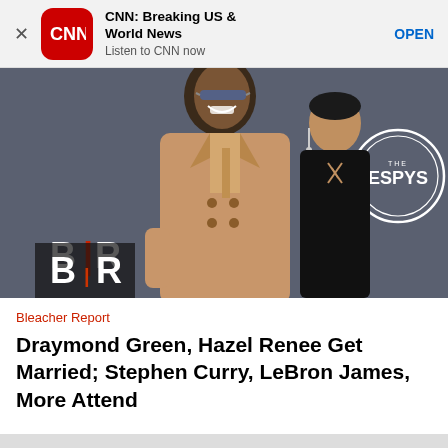[Figure (screenshot): CNN app banner with red CNN logo icon, title 'CNN: Breaking US & World News', subtitle 'Listen to CNN now', and blue OPEN button]
[Figure (photo): Draymond Green wearing a tan double-breasted suit with sunglasses, and Hazel Renee in a black outfit, posing together at the ESPYs red carpet event with Bleacher Report branding visible]
Bleacher Report
Draymond Green, Hazel Renee Get Married; Stephen Curry, LeBron James, More Attend